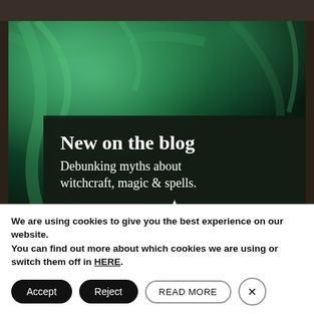[Figure (illustration): Advertisement for The Lancashire Witch blog post. Dark green mystical background with glowing veins/branches. Contains text: 'New on the blog / Debunking myths about witchcraft, magic & spells.' with Lancashire Witch logo and website URL www.thelancashirewitch.co.uk]
We are using cookies to give you the best experience on our website.
You can find out more about which cookies we are using or switch them off in HERE.